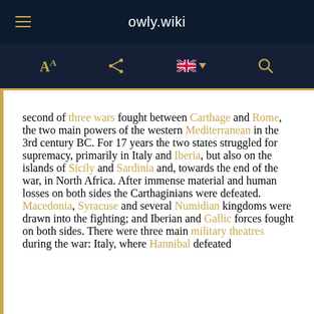owly.wiki
second of three wars fought between Carthage and Rome, the two main powers of the western Mediterranean in the 3rd century BC. For 17 years the two states struggled for supremacy, primarily in Italy and Iberia, but also on the islands of Sicily and Sardinia and, towards the end of the war, in North Africa. After immense material and human losses on both sides the Carthaginians were defeated. Macedonia, Syracuse and several Numidian kingdoms were drawn into the fighting; and Iberian and Gallic forces fought on both sides. There were three main military theatres during the war: Italy, where Hannibal defeated